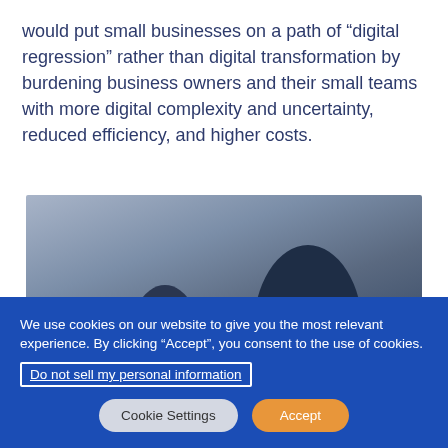would put small businesses on a path of “digital regression” rather than digital transformation by burdening business owners and their small teams with more digital complexity and uncertainty, reduced efficiency, and higher costs.
[Figure (photo): Black and white/blue-tinted photo showing people in a business setting, silhouettes visible]
We use cookies on our website to give you the most relevant experience. By clicking “Accept”, you consent to the use of cookies.
Do not sell my personal information
Cookie Settings   Accept